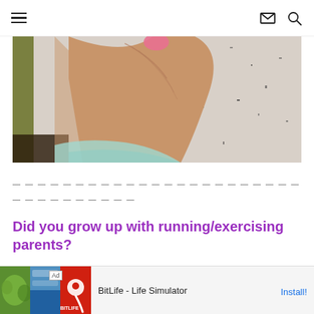Navigation header with hamburger menu, mail icon, and search icon
[Figure (photo): Close-up photo of a person's hand/wrist against a granite countertop surface, with a light blue sleeve visible]
— — — — — — — — — — — — — — — — — — — — — — — — — — — — —
— — — — — — — — — — —
Did you grow up with running/exercising parents?
[Figure (other): Advertisement banner: BitLife - Life Simulator app ad with Install button]